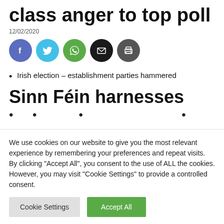class anger to top poll
12/02/2020
[Figure (other): Social share icons: Facebook, Twitter, WhatsApp, Email, Print]
Irish election – establishment parties hammered
Sinn Féin harnesses
We use cookies on our website to give you the most relevant experience by remembering your preferences and repeat visits. By clicking "Accept All", you consent to the use of ALL the cookies. However, you may visit "Cookie Settings" to provide a controlled consent.